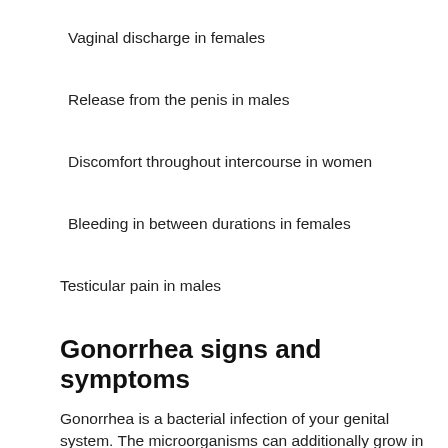Vaginal discharge in females
Release from the penis in males
Discomfort throughout intercourse in women
Bleeding in between durations in females
Testicular pain in males
Gonorrhea signs and symptoms
Gonorrhea is a bacterial infection of your genital system. The microorganisms can additionally grow in your mouth, throat, eyes and also anus